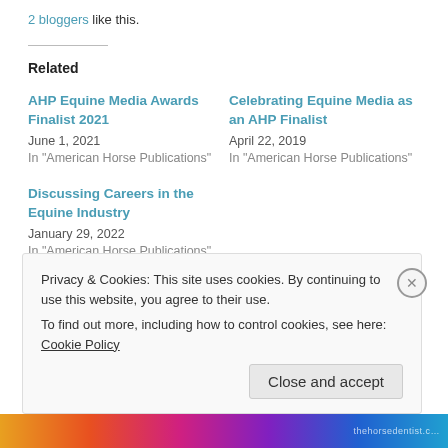2 bloggers like this.
Related
AHP Equine Media Awards Finalist 2021
June 1, 2021
In "American Horse Publications"
Celebrating Equine Media as an AHP Finalist
April 22, 2019
In "American Horse Publications"
Discussing Careers in the Equine Industry
January 29, 2022
In "American Horse Publications"
Privacy & Cookies: This site uses cookies. By continuing to use this website, you agree to their use.
To find out more, including how to control cookies, see here: Cookie Policy